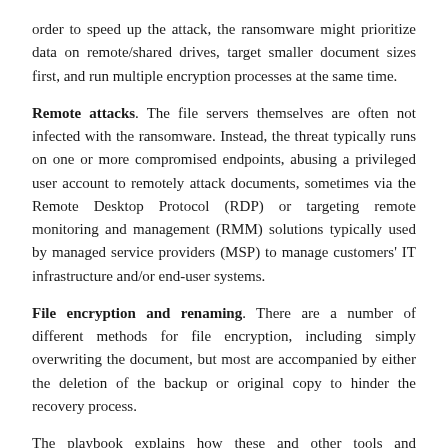order to speed up the attack, the ransomware might prioritize data on remote/shared drives, target smaller document sizes first, and run multiple encryption processes at the same time.
Remote attacks. The file servers themselves are often not infected with the ransomware. Instead, the threat typically runs on one or more compromised endpoints, abusing a privileged user account to remotely attack documents, sometimes via the Remote Desktop Protocol (RDP) or targeting remote monitoring and management (RMM) solutions typically used by managed service providers (MSP) to manage customers' IT infrastructure and/or end-user systems.
File encryption and renaming. There are a number of different methods for file encryption, including simply overwriting the document, but most are accompanied by either the deletion of the backup or original copy to hinder the recovery process.
The playbook explains how these and other tools and techniques are implemented by 11 ransomware families: WannaCry, GandCrab, SamSam, Dharma, BitPaymer, Ryuk, LockerGoga, MegaCortex,